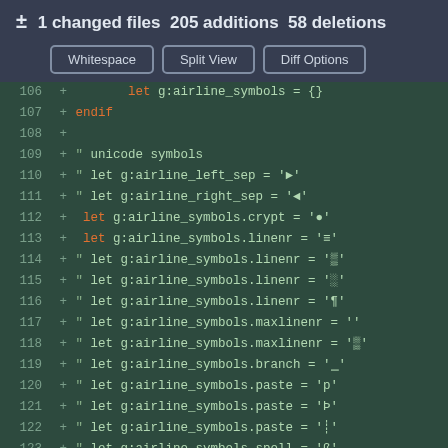± 1 changed files  205 additions  58 deletions
Whitespace  Split View  Diff Options
[Figure (screenshot): Code diff view showing lines 106-123 of a vim configuration file with additions for airline symbols settings in green/dark theme]